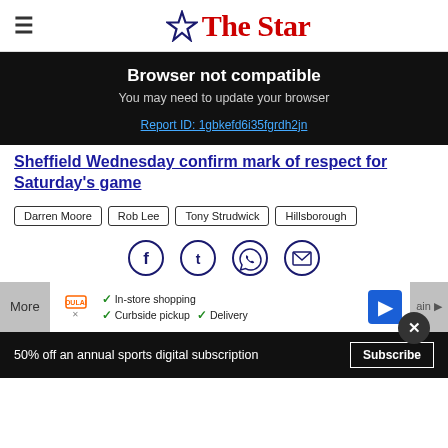The Star
Browser not compatible
You may need to update your browser
Report ID: 1gbkefd6i35fgrdh2jn
Sheffield Wednesday confirm mark of respect for Saturday's game
Darren Moore
Rob Lee
Tony Strudwick
Hillsborough
[Figure (infographic): Social sharing icons: Facebook, Twitter, WhatsApp, Email]
More | In-store shopping | Curbside pickup | Delivery
50% off an annual sports digital subscription  Subscribe